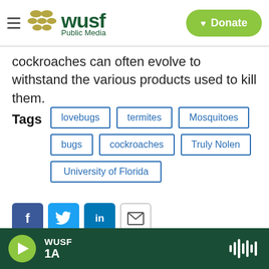WUSF Public Media — Donate
cockroaches can often evolve to withstand the various products used to kill them.
Tags: lovebugs, termites, Mosquitoes, bugs, cockroaches, Truly Nolen, University of Florida
[Figure (other): Social sharing buttons: Facebook, Twitter, LinkedIn, Email]
Stephanie Colombini
WUSF 1A audio player